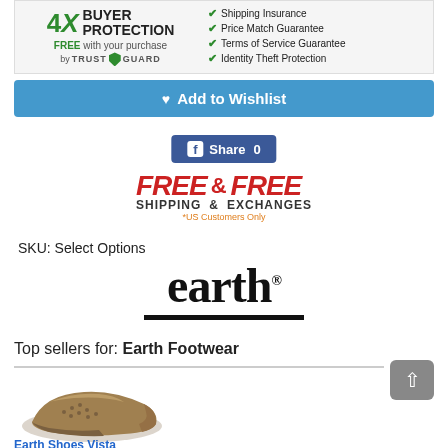[Figure (infographic): 4X Buyer Protection FREE with your purchase by Trust Guard banner with checkmarks listing Shipping Insurance, Price Match Guarantee, Terms of Service Guarantee, Identity Theft Protection]
Add to Wishlist
Share 0
[Figure (infographic): FREE & FREE SHIPPING EXCHANGES *US Customers Only promotional banner]
SKU: Select Options
[Figure (logo): earth. brand logo with thick black underline]
Top sellers for: Earth Footwear
[Figure (photo): Bronze/gold metallic ballet flat shoe with perforated design]
Earth Shoes Vista